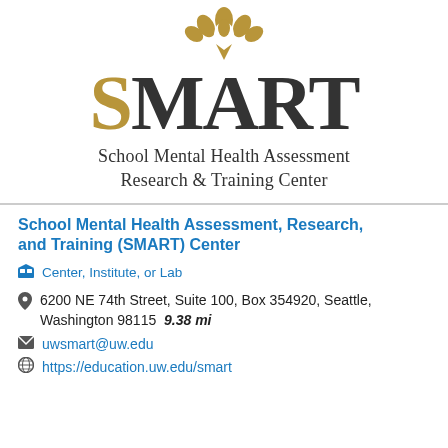[Figure (logo): SMART Center logo with gold lotus/leaf emblem at top, large 'SMART' text with gold 'S' and dark 'MART', subtitle 'School Mental Health Assessment Research & Training Center']
School Mental Health Assessment, Research, and Training (SMART) Center
Center, Institute, or Lab
6200 NE 74th Street, Suite 100, Box 354920, Seattle, Washington 98115   9.38 mi
uwsmart@uw.edu
https://education.uw.edu/smart